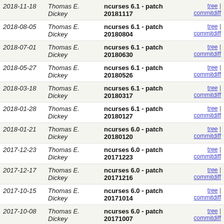| Date | Author | Subject | Links |
| --- | --- | --- | --- |
| 2018-11-18 | Thomas E. Dickey | ncurses 6.1 - patch 20181117 | tree | commitdiff |
| 2018-08-05 | Thomas E. Dickey | ncurses 6.1 - patch 20180804 | tree | commitdiff |
| 2018-07-01 | Thomas E. Dickey | ncurses 6.1 - patch 20180630 | tree | commitdiff |
| 2018-05-27 | Thomas E. Dickey | ncurses 6.1 - patch 20180526 | tree | commitdiff |
| 2018-03-18 | Thomas E. Dickey | ncurses 6.1 - patch 20180317 | tree | commitdiff |
| 2018-01-28 | Thomas E. Dickey | ncurses 6.1 - patch 20180127 | tree | commitdiff |
| 2018-01-21 | Thomas E. Dickey | ncurses 6.0 - patch 20180120 | tree | commitdiff |
| 2017-12-23 | Thomas E. Dickey | ncurses 6.0 - patch 20171223 | tree | commitdiff |
| 2017-12-17 | Thomas E. Dickey | ncurses 6.0 - patch 20171216 | tree | commitdiff |
| 2017-10-15 | Thomas E. Dickey | ncurses 6.0 - patch 20171014 | tree | commitdiff |
| 2017-10-08 | Thomas E. Dickey | ncurses 6.0 - patch 20171007 | tree | commitdiff |
| 2017-09-23 | Thomas E. Dickey | ncurses 6.0 - patch 20170923 | tree | commitdiff |
| 2017-09-02 | Thomas E. Dickey | ncurses 6.0 - patch 20170902 | tree | commitdiff |